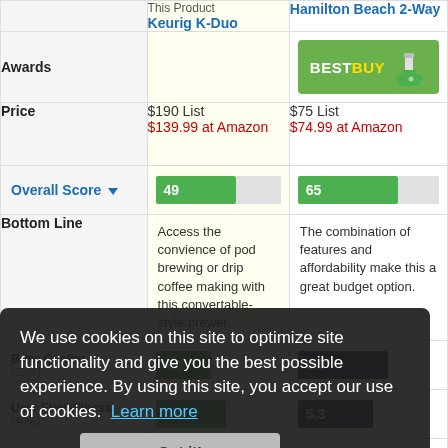|  | This Product Keurig K-Duo | Hamilton Beach 2-Way |
| --- | --- | --- |
| Awards |  | BESTBUY badge |
| Price | $190 List
$139.99 at Amazon | $75 List
$74.99 at Amazon |
| Overall Score | 49 | 65 |
| Bottom Line | Access the convience of pod brewing or drip coffee making with this convertable-style brewer. | The combination of features and affordability make this a great budget option. |
| Brew Quality (25%) | 4.0 | 6.0 |
| User Friendliness (40%) | 6.9 | 5.3 |
| Ease of Cleaning (20%) | 2 | 7.5 |
| Consistency (15%) | 3.5 | 6.5 |
We use cookies on this site to optimize site functionality and give you the best possible experience. By using this site, you accept our use of cookies. Learn more